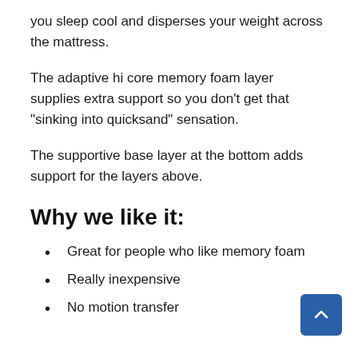you sleep cool and disperses your weight across the mattress.
The adaptive hi core memory foam layer supplies extra support so you don’t get that “sinking into quicksand” sensation.
The supportive base layer at the bottom adds support for the layers above.
Why we like it:
Great for people who like memory foam
Really inexpensive
No motion transfer